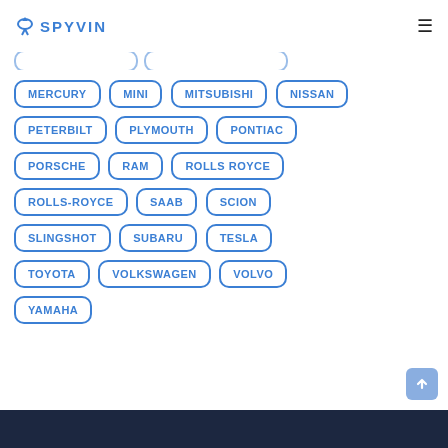SPYVIN
MERCURY
MINI
MITSUBISHI
NISSAN
PETERBILT
PLYMOUTH
PONTIAC
PORSCHE
RAM
ROLLS ROYCE
ROLLS-ROYCE
SAAB
SCION
SLINGSHOT
SUBARU
TESLA
TOYOTA
VOLKSWAGEN
VOLVO
YAMAHA